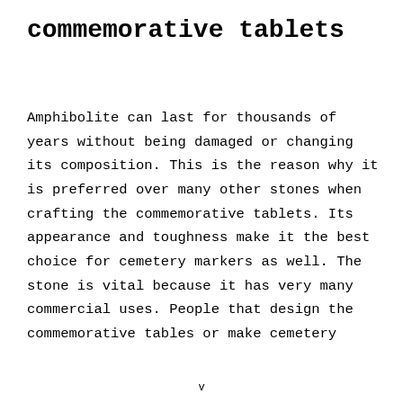commemorative tablets
Amphibolite can last for thousands of years without being damaged or changing its composition. This is the reason why it is preferred over many other stones when crafting the commemorative tablets. Its appearance and toughness make it the best choice for cemetery markers as well. The stone is vital because it has very many commercial uses. People that design the commemorative tables or make cemetery
v